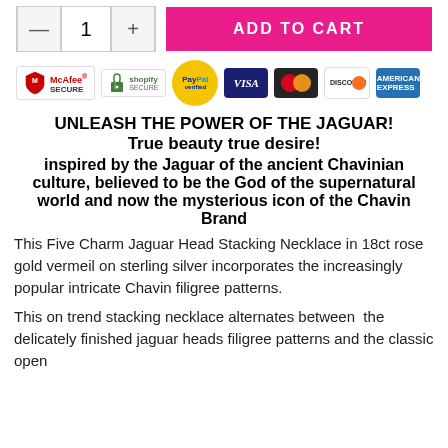[Figure (other): Quantity selector with minus button, number 1, plus button, and pink ADD TO CART button]
[Figure (other): Payment/security badges: McAfee SECURE, Shopify Secure, PayPal Verified, Visa, MasterCard, Discover, American Express]
UNLEASH THE POWER OF THE JAGUAR!
True beauty true desire!
inspired by the Jaguar of the ancient Chavinian culture, believed to be the God of the supernatural world and now the mysterious icon of the Chavin Brand
This Five Charm Jaguar Head Stacking Necklace in 18ct rose gold vermeil on sterling silver incorporates the increasingly popular intricate Chavin filigree patterns.
This on trend stacking necklace alternates between  the delicately finished jaguar heads filigree patterns and the classic open